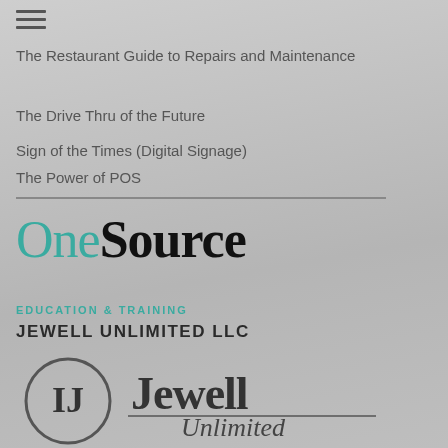The Restaurant Guide to Repairs and Maintenance
The Drive Thru of the Future
Sign of the Times (Digital Signage)
The Power of POS
[Figure (logo): OneSource logo with 'One' in teal/green and 'Source' in bold black]
EDUCATION & TRAINING
JEWELL UNLIMITED LLC
[Figure (logo): Jewell Unlimited LLC logo with circular emblem containing 'IJ' monogram and 'Jewell Unlimited' script text]